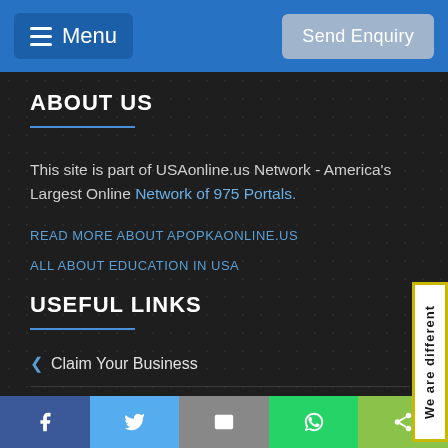Menu | Send Enquiry
ABOUT US
This site is part of USAonline.us Network - America's Largest Online Network of 975 Portals.
READ MORE ABOUT APOPKAONLINE.US
ALL ABOUT EDUCATION IN USA
USEFUL LINKS
Claim Your Business
Create New Listing
[Figure (other): Side tab with yellow border reading 'We are different' vertically]
Facebook | Twitter | Email | WhatsApp | Share